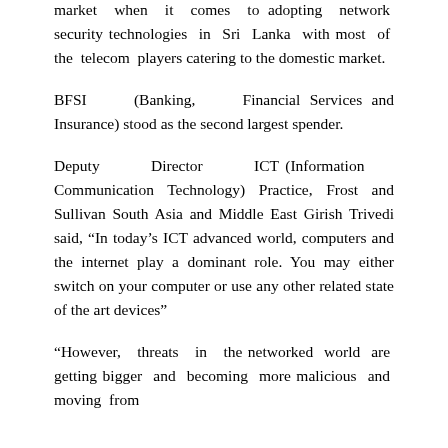market when it comes to adopting network security technologies in Sri Lanka with most of the telecom players catering to the domestic market.
BFSI (Banking, Financial Services and Insurance) stood as the second largest spender.
Deputy Director ICT (Information Communication Technology) Practice, Frost and Sullivan South Asia and Middle East Girish Trivedi said, “In today’s ICT advanced world, computers and the internet play a dominant role. You may either switch on your computer or use any other related state of the art devices”
“However, threats in the networked world are getting bigger and becoming more malicious and moving from